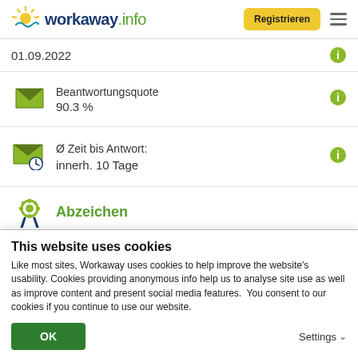workaway.info | Registrieren
01.09.2022
Beantwortungsquote
90.3 %
Ø Zeit bis Antwort:
innerh. 10 Tage
Abzeichen
This website uses cookies
Like most sites, Workaway uses cookies to help improve the website's usability. Cookies providing anonymous info help us to analyse site use as well as improve content and present social media features.  You consent to our cookies if you continue to use our website.
OK | Settings